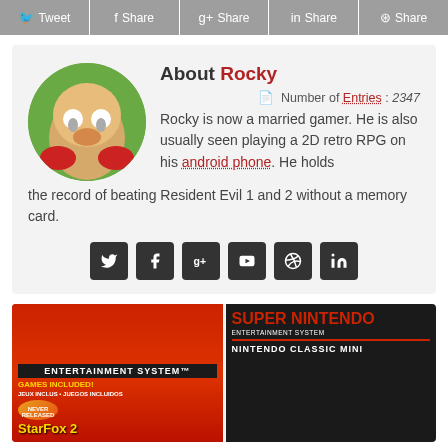[Figure (screenshot): Social share buttons bar: Tweet, Share (Facebook), g+ Share, in Share, Share (Pinterest)]
[Figure (infographic): Author bio card for Rocky with circular avatar (Psyduck anime character), name 'About Rocky', number of entries 2347, bio text, and social media icon buttons]
[Figure (photo): Two gaming product boxes: NES Classic Mini (red box with StarFox 2) and Super Nintendo Classic Mini black box]